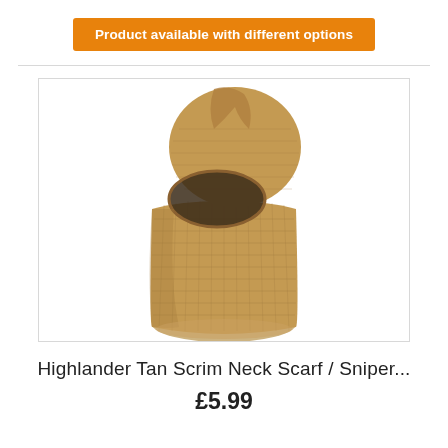Product available with different options
[Figure (photo): A tan/coyote brown knitted mesh balaclava (sniper scrim neck scarf) displayed as a standalone product photo on white background. The balaclava is a full head covering with a face opening, made of loose open-weave mesh netting in a sandy brown color.]
Highlander Tan Scrim Neck Scarf / Sniper...
£5.99